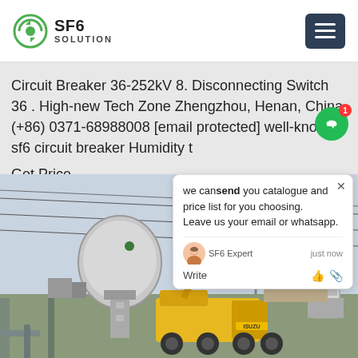SF6 SOLUTION
Circuit Breaker 36-252kV 8. Disconnecting Switch 36 . High-new Tech Zone Zhengzhou, Henan, China (+86) 0371-68988008 [email protected] well-known sf6 circuit breaker Humidity t
Get Price
[Figure (screenshot): Chat popup overlay showing message: 'we can send you catalogue and price list for you choosing. Leave us your email or whatsapp.' with SF6 Expert agent avatar, justnow timestamp, Write field with thumbs up and paperclip icons]
[Figure (photo): Outdoor electrical substation with large SF6 circuit breakers, yellow crane truck (Isuzu), transmission towers and wires in background, industrial equipment maintenance scene]